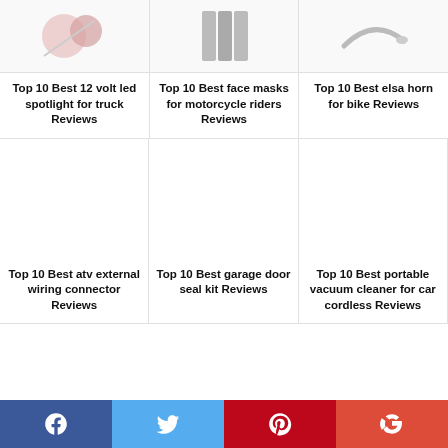[Figure (photo): Three product thumbnail images at top: spotlight, face masks, bike horn]
Top 10 Best 12 volt led spotlight for truck Reviews
Top 10 Best face masks for motorcycle riders Reviews
Top 10 Best elsa horn for bike Reviews
Top 10 Best atv external wiring connector Reviews
Top 10 Best garage door seal kit Reviews
Top 10 Best portable vacuum cleaner for car cordless Reviews
[Figure (infographic): Social media share buttons: Facebook, Twitter, Pinterest, Google+]